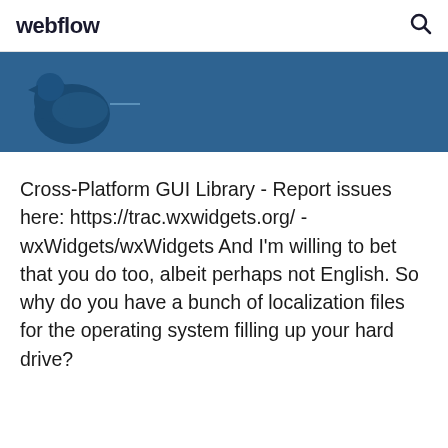webflow
[Figure (illustration): Dark teal/blue banner with a partial illustration of a bird figure on the left side]
Cross-Platform GUI Library - Report issues here: https://trac.wxwidgets.org/ - wxWidgets/wxWidgets And I'm willing to bet that you do too, albeit perhaps not English. So why do you have a bunch of localization files for the operating system filling up your hard drive?